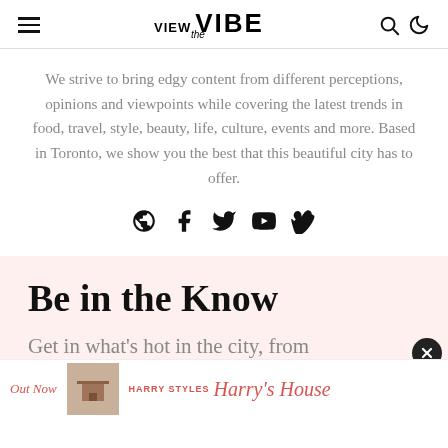View the VIBE [logo with hamburger menu, search icon, moon icon]
We strive to bring edgy content from different perceptions, opinions and viewpoints while covering the latest trends in food, travel, style, beauty, life, culture, events and more. Based in Toronto, we show you the best that this beautiful city has to offer.
[Figure (infographic): Social media icons: globe, Facebook, Twitter, YouTube, Vimeo]
Be in the Know
Get in on what’s hot in the city, from
[Figure (infographic): Advertisement banner: Out Now | image of room | HARRY STYLES Harry’s House]